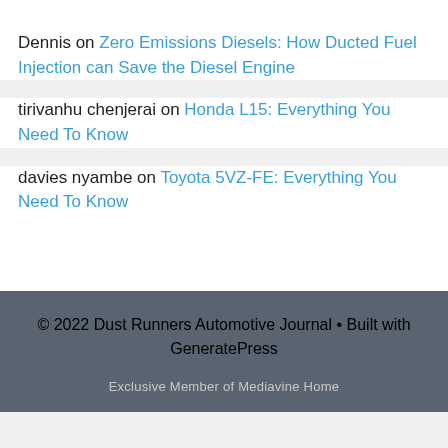Dennis on Zero Emissions Diesels: How Ducted Fuel Injection can Save the Diesel Engine
tirivanhu chenjerai on Honda L15: Everything You Need To Know
davies nyambe on Toyota 5VZ-FE: Everything You Need To Know
© 2022 Dust Runners Automotive Journal • Built with GeneratePress
Exclusive Member of Mediavine Home
[Figure (screenshot): CVS Pharmacy advertisement bar showing Ashburn location OPEN 8AM-12AM at 43930 Farmwell Hunt Plaza, Ash... with navigation icon and logo]